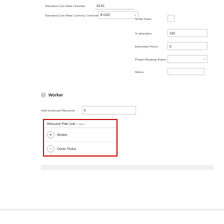Standard Cost Rate Override
Standard Cost Rate Currency Override
To Be Hired
% allocation
Estimated Hours
Project Booking Status
Memo
Worker
Add Unnamed Resource
| Resource Plan Line 1 item |
| --- |
| Worker |
| Oscar Trivino |